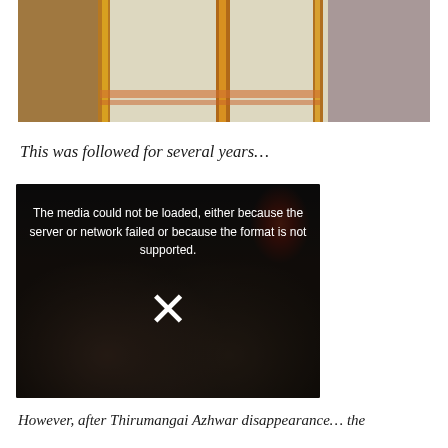[Figure (photo): Close-up photo of a deity or figure dressed in traditional Indian attire with gold and white cloth, golden border embroidery, with a purple/grey background visible]
This was followed for several years…
[Figure (screenshot): Video player showing error message: 'The media could not be loaded, either because the server or network failed or because the format is not supported.' with a large X icon over a dark background with a crowd scene underneath]
However, after Thirumangai Azhwar disappearance... the